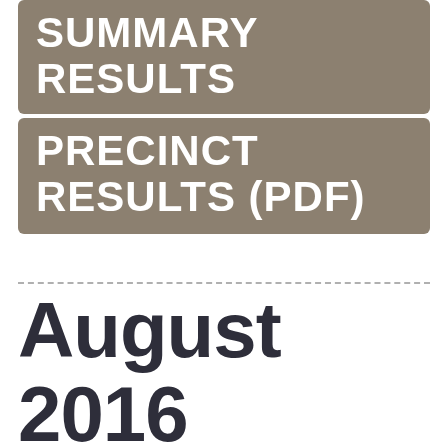SUMMARY RESULTS
PRECINCT RESULTS (PDF)
August 2016 Election Official